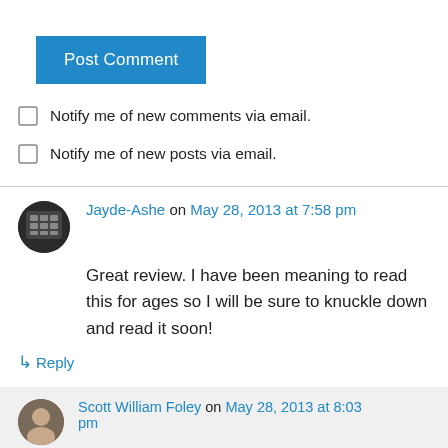[Figure (other): Blue 'Post Comment' button]
Notify me of new comments via email.
Notify me of new posts via email.
Jayde-Ashe on May 28, 2013 at 7:58 pm
Great review. I have been meaning to read this for ages so I will be sure to knuckle down and read it soon!
↳ Reply
Scott William Foley on May 28, 2013 at 8:03 pm